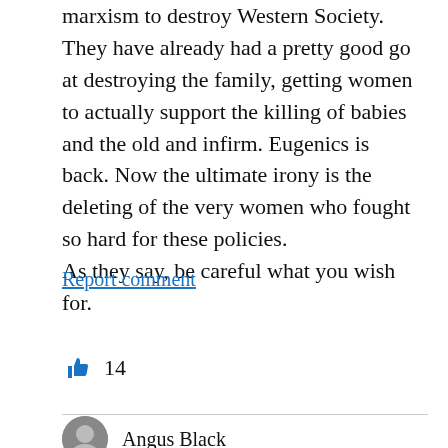marxism to destroy Western Society. They have already had a pretty good go at destroying the family, getting women to actually support the killing of babies and the old and infirm. Eugenics is back. Now the ultimate irony is the deleting of the very women who fought so hard for these policies.
As they say, be careful what you wish for.
Report comment
14
Angus Black